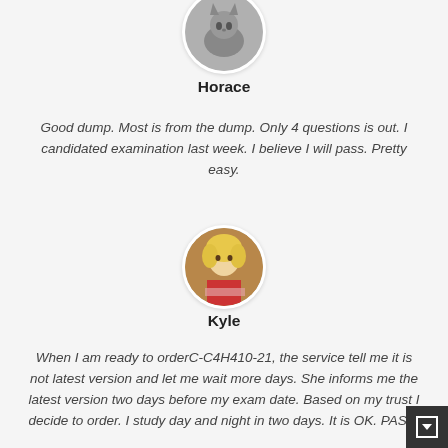[Figure (photo): Circular avatar photo of Horace, partially cropped at top, showing a cat or person in grayscale]
Horace
Good dump. Most is from the dump. Only 4 questions is out. I candidated examination last week. I believe I will pass. Pretty easy.
[Figure (photo): Circular avatar photo of Kyle, showing a blonde person, partially redacted]
Kyle
When I am ready to orderC-C4H410-21, the service tell me it is not latest version and let me wait more days. She informs me the latest version two days before my exam date. Based on my trust I decide to order. I study day and night in two days. It is OK. PASS.